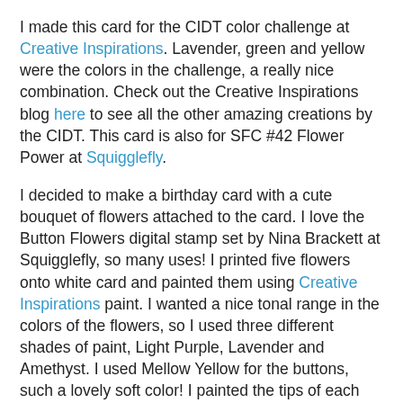I made this card for the CIDT color challenge at Creative Inspirations. Lavender, green and yellow were the colors in the challenge, a really nice combination. Check out the Creative Inspirations blog here to see all the other amazing creations by the CIDT. This card is also for SFC #42 Flower Power at Squigglefly.
I decided to make a birthday card with a cute bouquet of flowers attached to the card. I love the Button Flowers digital stamp set by Nina Brackett at Squigglefly, so many uses! I printed five flowers onto white card and painted them using Creative Inspirations paint. I wanted a nice tonal range in the colors of the flowers, so I used three different shades of paint, Light Purple, Lavender and Amethyst. I used Mellow Yellow for the buttons, such a lovely soft color! I painted the tips of each flower in Amethyst. When they were dry I cut them out and gently pushed the petals forward to give them a 3D look. I painted some wooden skewers and the leaves in Evergreen for the stems.
For the card itself I used lavender card as the base and